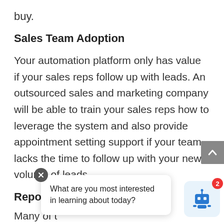buy.
Sales Team Adoption
Your automation platform only has value if your sales reps follow up with leads. An outsourced sales and marketing company will be able to train your sales reps how to leverage the system and also provide appointment setting support if your team lacks the time to follow up with your new volume of leads.
Reporting
Many of t
What are you most interested in learning about today?